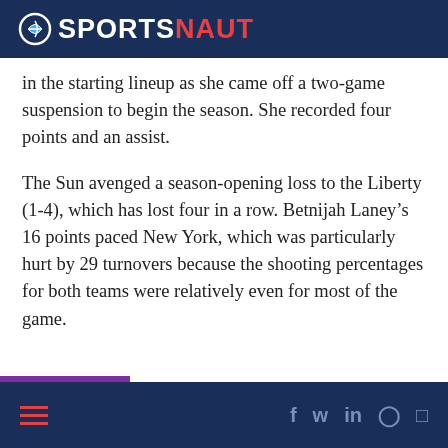SPORTSNAUT
in the starting lineup as she came off a two-game suspension to begin the season. She recorded four points and an assist.
The Sun avenged a season-opening loss to the Liberty (1-4), which has lost four in a row. Betnijah Laney’s 16 points paced New York, which was particularly hurt by 29 turnovers because the shooting percentages for both teams were relatively even for most of the game.
SPORTSNAUT footer navigation